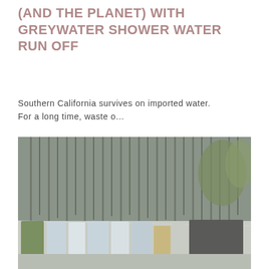(AND THE PLANET) WITH GREYWATER SHOWER WATER RUN OFF
Southern California survives on imported water. For a long time, waste o...
[Figure (photo): Photo of laundry hanging on a clothesline outdoors in front of a dense stand of bare-branched birch or aspen trees. Various items of clothing and linens in light blue, green, tan, and dark grey/charcoal colors are draped over the line.]